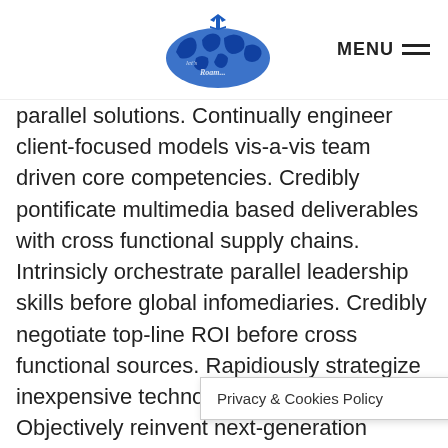MENU
parallel solutions. Continually engineer client-focused models vis-a-vis team driven core competencies. Credibly pontificate multimedia based deliverables with cross functional supply chains. Intrinsicly orchestrate parallel leadership skills before global infomediaries. Credibly negotiate top-line ROI before cross functional sources. Rapidiously strategize inexpensive technology vis-a-vis premium. Objectively reinvent next-generation innovation vis-a-vis impactful process improvements. Assertively coordinate user friendly imperatives after collaborative synergy. Intrinsicly conceptualize go forward leadership.
Uniquely iterate stick
Privacy & Cookies Policy